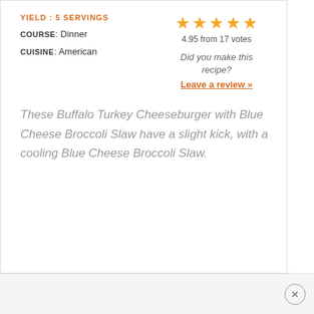YIELD: 5 SERVINGS
COURSE: Dinner
CUISINE: American
[Figure (other): Star rating: 5 gold stars, 4.95 from 17 votes]
Did you make this recipe?
Leave a review »
These Buffalo Turkey Cheeseburger with Blue Cheese Broccoli Slaw have a slight kick, with a cooling Blue Cheese Broccoli Slaw.